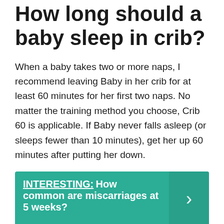How long should a baby sleep in crib?
When a baby takes two or more naps, I recommend leaving Baby in her crib for at least 60 minutes for her first two naps. No matter the training method you choose, Crib 60 is applicable. If Baby never falls asleep (or sleeps fewer than 10 minutes), get her up 60 minutes after putting her down.
INTERESTING: How common are miscarriages at 5 weeks?
How long does it take for crib hour to work?